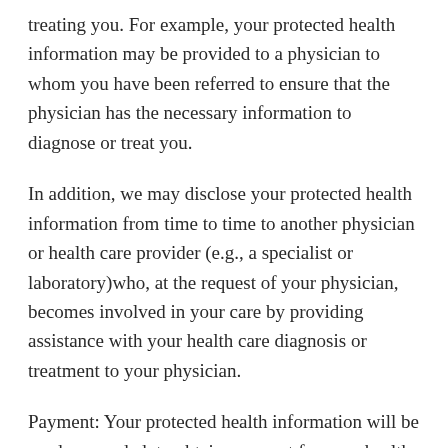treating you. For example, your protected health information may be provided to a physician to whom you have been referred to ensure that the physician has the necessary information to diagnose or treat you.
In addition, we may disclose your protected health information from time to time to another physician or health care provider (e.g., a specialist or laboratory)who, at the request of your physician, becomes involved in your care by providing assistance with your health care diagnosis or treatment to your physician.
Payment: Your protected health information will be used, as needed, to obtain payment for your health care services. This may include certain activities that your health insurance plan may undertake before it approves or pays